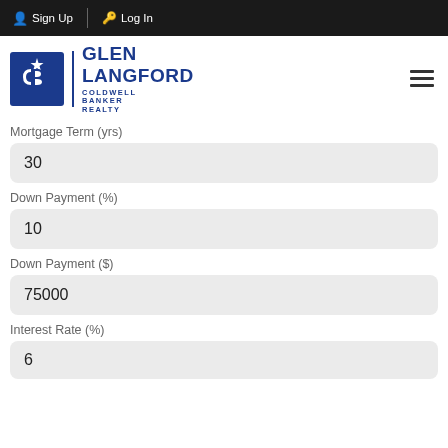Sign Up   Log In
[Figure (logo): Coldwell Banker Realty logo with Glen Langford branding]
Mortgage Term (yrs)
30
Down Payment (%)
10
Down Payment ($)
75000
Interest Rate (%)
6